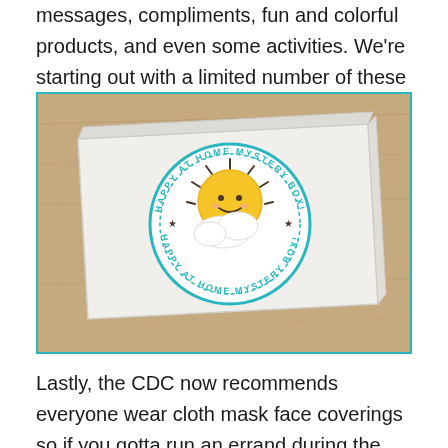messages, compliments, fun and colorful products, and even some activities. We're starting out with a limited number of these so act fast if you want one!
[Figure (photo): A white cardboard gift box photographed from above on a wood surface. The box has a circular sticker label reading 'HAPPY AT HOME MYSTERY BOX!' around the top and bottom arcs, with a cute kawaii sun and cloud illustration in the center.]
Lastly, the CDC now recommends everyone wear cloth mask face coverings so if you gotta run an errand during the...